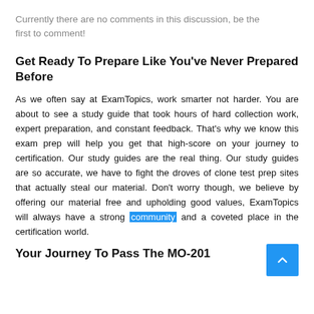Currently there are no comments in this discussion, be the first to comment!
Get Ready To Prepare Like You've Never Prepared Before
As we often say at ExamTopics, work smarter not harder. You are about to see a study guide that took hours of hard collection work, expert preparation, and constant feedback. That's why we know this exam prep will help you get that high-score on your journey to certification. Our study guides are the real thing. Our study guides are so accurate, we have to fight the droves of clone test prep sites that actually steal our material. Don't worry though, we believe by offering our material free and upholding good values, ExamTopics will always have a strong community and a coveted place in the certification world.
Your Journey To Pass The MO-201